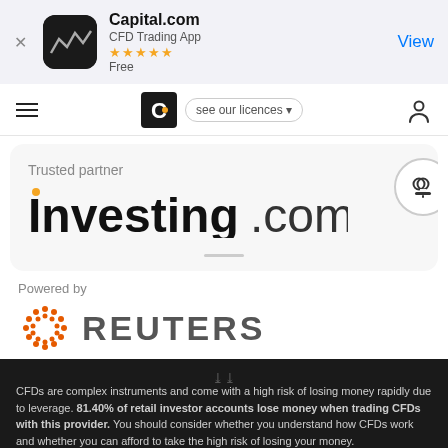[Figure (screenshot): App Store banner for Capital.com CFD Trading App with 5-star rating, Free, and View button]
[Figure (screenshot): Capital.com navigation bar with hamburger menu, Capital.com logo, 'see our licences' dropdown, and person icon]
Trusted partner
[Figure (logo): Investing.com logo with orange dot on the 'i']
Powered by
[Figure (logo): Reuters logo with orange dot circle and REUTERS text]
CFDs are complex instruments and come with a high risk of losing money rapidly due to leverage. 81.40% of retail investor accounts lose money when trading CFDs with this provider. You should consider whether you understand how CFDs work and whether you can afford to take the high risk of losing your money.
By using the Capital.com website you agree to the use of cookies.